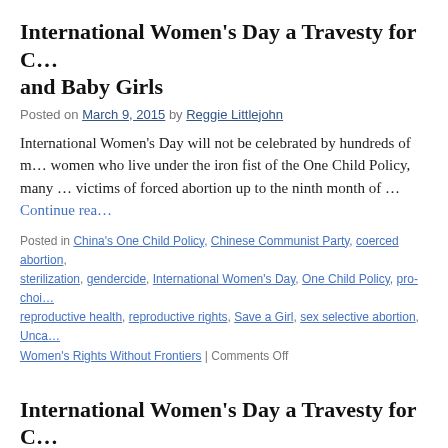International Women's Day a Travesty for C… and Baby Girls
Posted on March 9, 2015 by Reggie Littlejohn
International Women's Day will not be celebrated by hundreds of m… women who live under the iron fist of the One Child Policy, many … victims of forced abortion up to the ninth month of … Continue rea…
Posted in China's One Child Policy, Chinese Communist Party, coerced abortion, sterilization, gendercide, International Women's Day, One Child Policy, pro-choi… reproductive health, reproductive rights, Save a Girl, sex selective abortion, Unca… Women's Rights Without Frontiers | Comments Off
International Women's Day a Travesty for C… and Blind Forced Abortion Opponent Chen…
Posted on March 9, 2012 by Reggie Littlejohn
This week women in many nations celebrate great advances in wom…